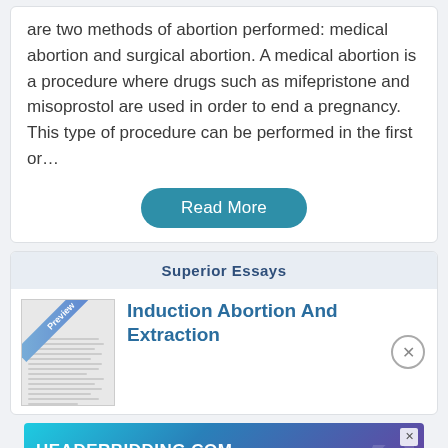are two methods of abortion performed: medical abortion and surgical abortion. A medical abortion is a procedure where drugs such as mifepristone and misoprostol are used in order to end a pregnancy. This type of procedure can be performed in the first or…
Read More
Superior Essays
[Figure (illustration): Preview thumbnail of an essay document with a diagonal 'Preview' banner in blue]
Induction Abortion And Extraction
[Figure (other): HEADERBIDDING.COM advertisement banner - Your source for all things programmatic advertising.]